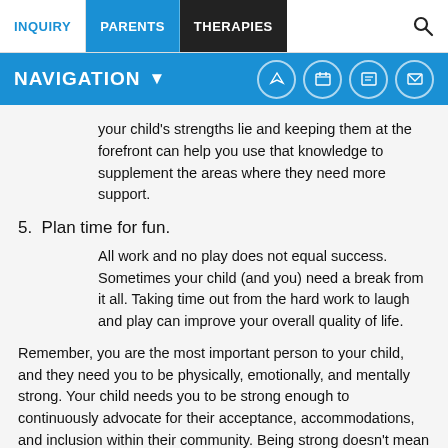INQUIRY | PARENTS | THERAPIES
NAVIGATION
your child's strengths lie and keeping them at the forefront can help you use that knowledge to supplement the areas where they need more support.
5. Plan time for fun.
All work and no play does not equal success. Sometimes your child (and you) need a break from it all. Taking time out from the hard work to laugh and play can improve your overall quality of life.
Remember, you are the most important person to your child, and they need you to be physically, emotionally, and mentally strong. Your child needs you to be strong enough to continuously advocate for their acceptance, accommodations, and inclusion within their community. Being strong doesn't mean that you won't have bad days,